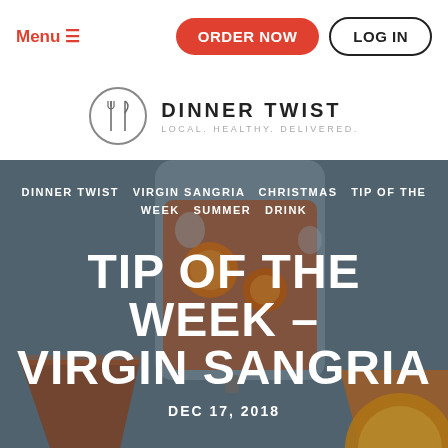Menu  ORDER NOW  LOG IN
[Figure (logo): Dinner Twist logo: fork and knife icon in a circle, with text DINNER TWIST LOCAL. HEALTHY. DELIVERED.]
[Figure (photo): Close-up photo of a glass drink dispenser and glasses filled with red sangria with orange slices, blurred background]
DINNER TWIST  VIRGIN SANGRIA  CHRISTMAS  TIP OF THE WEEK  SUMMER  DRINK
TIP OF THE WEEK – VIRGIN SANGRIA
DEC 17, 2018